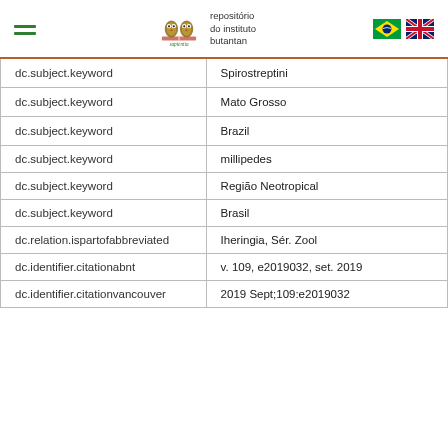sapientia - repositório do instituto butantan
| dc.subject.keyword | Spirostreptini |
| dc.subject.keyword | Mato Grosso |
| dc.subject.keyword | Brazil |
| dc.subject.keyword | millipedes |
| dc.subject.keyword | Região Neotropical |
| dc.subject.keyword | Brasil |
| dc.relation.ispartofabbreviated | Iheringia, Sér. Zool |
| dc.identifier.citationabnt | v. 109, e2019032, set. 2019 |
| dc.identifier.citationvancouver | 2019 Sept;109:e2019032 |